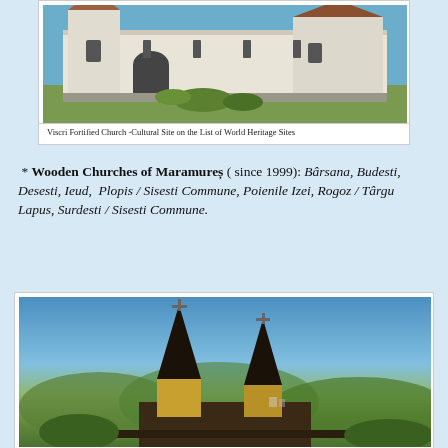[Figure (photo): Viscri Fortified Church — a white-walled fortified church with towers and red-tiled roof, cultural World Heritage Site]
Viscri Fortified Church -Cultural Site on the List of World Heritage Sites
* Wooden Churches of Maramureș ( since 1999): Bârsana, Budesti, Desesti, Ieud, Plopis / Sisesti Commune, Poienile Izei, Rogoz / Târgu Lapus, Surdesti / Sisesti Commune.
[Figure (photo): Aerial view of wooden church towers with pointed steeples in Maramureș, surrounded by green hills and blue sky]